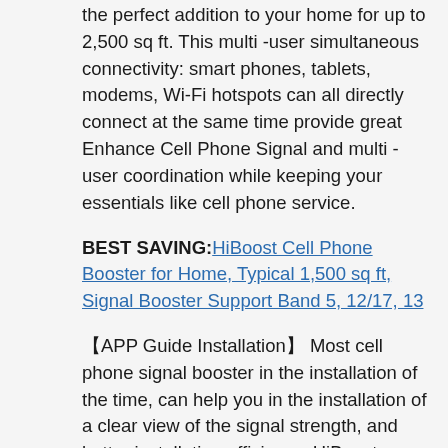the perfect addition to your home for up to 2,500 sq ft. This multi -user simultaneous connectivity: smart phones, tablets, modems, Wi-Fi hotspots can all directly connect at the same time provide great Enhance Cell Phone Signal and multi -user coordination while keeping your essentials like cell phone service.
BEST SAVING: HiBoost Cell Phone Booster for Home, Typical 1,500 sq ft, Signal Booster Support Band 5, 12/17, 13
【APP Guide Installation】 Most cell phone signal booster in the installation of the time, can help you in the installation of a clear view of the signal strength, and better installation efficiency. HiBoost SignalSupervisor can help you in the installation of outdoor signal, a clear view of the signal strength, and effectively help you fine-tune to the maximum power, better installation efficiency.